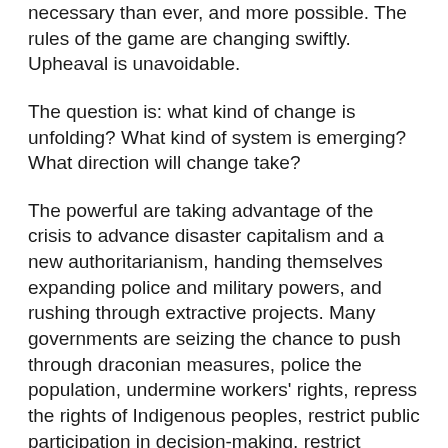necessary than ever, and more possible. The rules of the game are changing swiftly. Upheaval is unavoidable.
The question is: what kind of change is unfolding? What kind of system is emerging? What direction will change take?
The powerful are taking advantage of the crisis to advance disaster capitalism and a new authoritarianism, handing themselves expanding police and military powers, and rushing through extractive projects. Many governments are seizing the chance to push through draconian measures, police the population, undermine workers' rights, repress the rights of Indigenous peoples, restrict public participation in decision-making, restrict access to sexual and reproductive health services, and institute widespread surveillance. In the worst situations, repressive actors are using the moment of political instability to violently quash dissent, legitimise racism, religious fundamentalism and advance predatory mining frontiers, and execute land defenders.